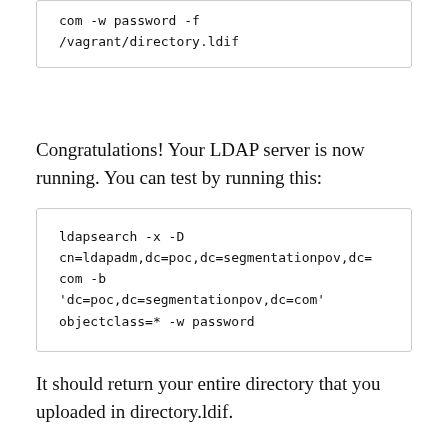com -w password -f /vagrant/directory.ldif
Congratulations! Your LDAP server is now running. You can test by running this:
ldapsearch -x -D cn=ldapadm,dc=poc,dc=segmentationpov,dc=com -b 'dc=poc,dc=segmentationpov,dc=com' objectclass=* -w password
It should return your entire directory that you uploaded in directory.ldif.